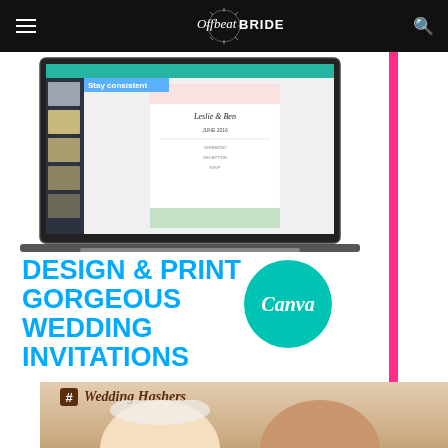Offbeat BRIDE
[Figure (screenshot): Canva advertisement showing a laptop screen with wedding invitation design interface, text reading 'Stay consistent', with a floral wedding invitation visible. Below: 'DESIGN & PRINT GORGEOUS WEDDING INVITATIONS' in blue with Canva logo in teal circle. Pink vertical bar on right side.]
[Figure (photo): Wedding Hashers advertisement showing logo with hashtag icon and script text 'Wedding Hashers', with two brides smiling below.]